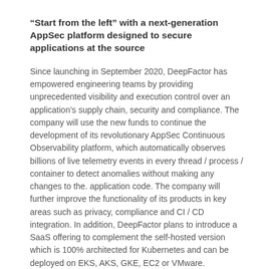“Start from the left” with a next-generation AppSec platform designed to secure applications at the source
Since launching in September 2020, DeepFactor has empowered engineering teams by providing unprecedented visibility and execution control over an application’s supply chain, security and compliance. The company will use the new funds to continue the development of its revolutionary AppSec Continuous Observability platform, which automatically observes billions of live telemetry events in every thread / process / container to detect anomalies without making any changes to the. application code. The company will further improve the functionality of its products in key areas such as privacy, compliance and CI / CD integration. In addition, DeepFactor plans to introduce a SaaS offering to complement the self-hosted version which is 100% architected for Kubernetes and can be deployed on EKS, AKS, GKE, EC2 or VMware.